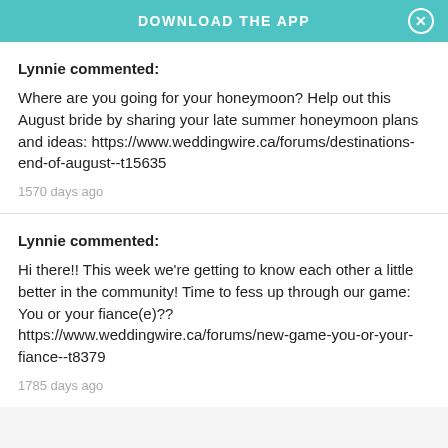DOWNLOAD THE APP
Lynnie commented:
Where are you going for your honeymoon? Help out this August bride by sharing your late summer honeymoon plans and ideas: https://www.weddingwire.ca/forums/destinations-end-of-august--t15635
1570 days ago
Lynnie commented:
Hi there!! This week we're getting to know each other a little better in the community! Time to fess up through our game: You or your fiance(e)?? https://www.weddingwire.ca/forums/new-game-you-or-your-fiance--t8379
1785 days ago